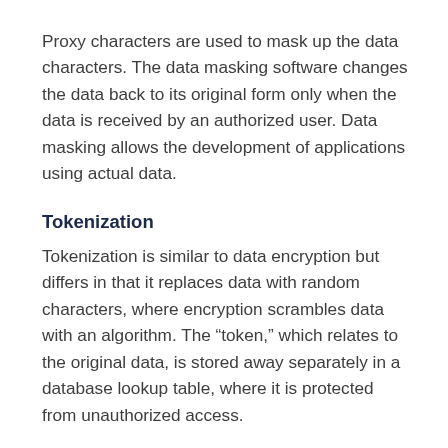Proxy characters are used to mask up the data characters. The data masking software changes the data back to its original form only when the data is received by an authorized user. Data masking allows the development of applications using actual data.
Tokenization
Tokenization is similar to data encryption but differs in that it replaces data with random characters, where encryption scrambles data with an algorithm. The “token,” which relates to the original data, is stored away separately in a database lookup table, where it is protected from unauthorized access.
Data Erasure
Data erasure occurs when data is no longer needed or active in the system. The erasure process uses